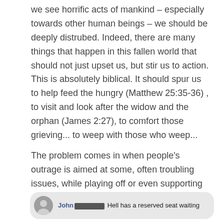we see horrific acts of mankind – especially towards other human beings – we should be deeply distrubed. Indeed, there are many things that happen in this fallen world that should not just upset us, but stir us to action. This is absolutely biblical. It should spur us to help feed the hungry (Matthew 25:35-36) , to visit and look after the widow and the orphan (James 2:27), to comfort those grieving... to weep with those who weep...
The problem comes in when people's outrage is aimed at some, often troubling issues, while playing off or even supporting other, far more evil and egregious actions. Let me give you a couple:
[Figure (screenshot): A social media comment with a circular avatar photo on the left. The commenter's name 'John' is shown in bold blue, followed by a redacted black bar, then the text 'Hell has a reserved seat waiting'. The background is light grey in a rounded rectangle.]